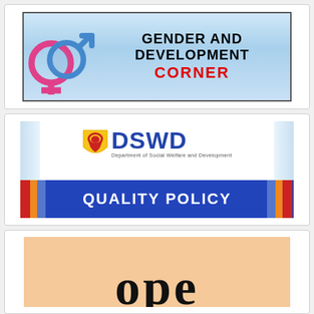[Figure (infographic): Gender and Development Corner banner with gender symbols (male/female interlinked) on a blue gradient background, text reading GENDER AND DEVELOPMENT CORNER in black bold with CORNER in red]
[Figure (infographic): DSWD (Department of Social Welfare and Development) Quality Policy banner with logo on top and blue ribbon with QUALITY POLICY text, flanked by colored stripes]
[Figure (infographic): Partial view of a peach/orange background banner with large dark letters partially visible at the bottom, appears to start with 'ope' or similar script text]